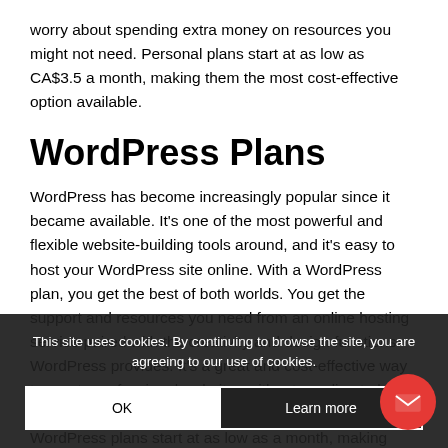worry about spending extra money on resources you might not need. Personal plans start at as low as CA$3.5 a month, making them the most cost-effective option available.
WordPress Plans
WordPress has become increasingly popular since it became available. It's one of the most powerful and flexible website-building tools around, and it's easy to host your WordPress site online. With a WordPress plan, you get the best of both worlds. You get the support and resources you need from an online hosting service paired with the creativity and design functions WordPress provides. It's a great and cost-effective way to create professional websites without needing to hire a developer or designer to help you put them together. WordPress plans start at as low as a month, making them a money-saving direct costs.
This site uses cookies. By continuing to browse the site, you are agreeing to our use of cookies.